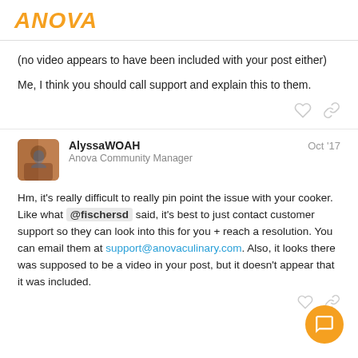ANOVA
(no video appears to have been included with your post either)
Me, I think you should call support and explain this to them.
AlyssaWOAH  Oct '17
Anova Community Manager
Hm, it's really difficult to really pin point the issue with your cooker. Like what @fischersd said, it's best to just contact customer support so they can look into this for you + reach a resolution. You can email them at support@anovaculinary.com. Also, it looks there was supposed to be a video in your post, but it doesn't appear that it was included.